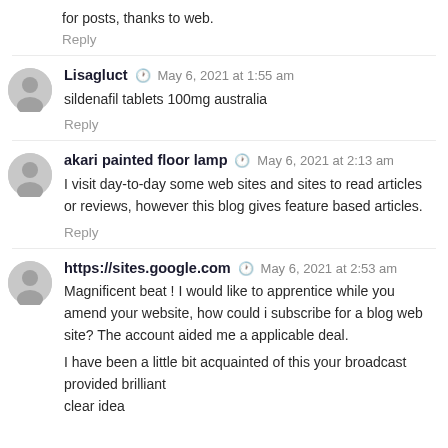for posts, thanks to web.
Reply
Lisagluct  May 6, 2021 at 1:55 am
sildenafil tablets 100mg australia
Reply
akari painted floor lamp  May 6, 2021 at 2:13 am
I visit day-to-day some web sites and sites to read articles or reviews, however this blog gives feature based articles.
Reply
https://sites.google.com  May 6, 2021 at 2:53 am
Magnificent beat ! I would like to apprentice while you amend your website, how could i subscribe for a blog web site? The account aided me a applicable deal.
I have been a little bit acquainted of this your broadcast provided brilliant clear idea